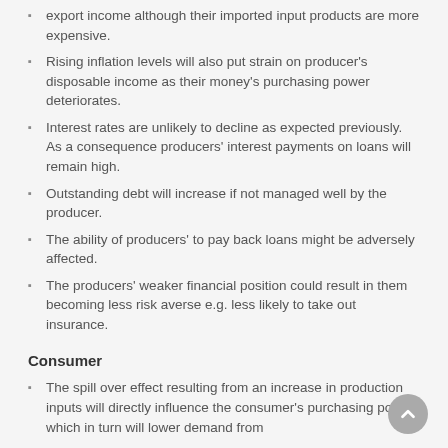export income although their imported input products are more expensive.
Rising inflation levels will also put strain on producer's disposable income as their money's purchasing power deteriorates.
Interest rates are unlikely to decline as expected previously. As a consequence producers' interest payments on loans will remain high.
Outstanding debt will increase if not managed well by the producer.
The ability of producers' to pay back loans might be adversely affected.
The producers' weaker financial position could result in them becoming less risk averse e.g. less likely to take out insurance.
Consumer
The spill over effect resulting from an increase in production inputs will directly influence the consumer's purchasing power which in turn will lower demand from